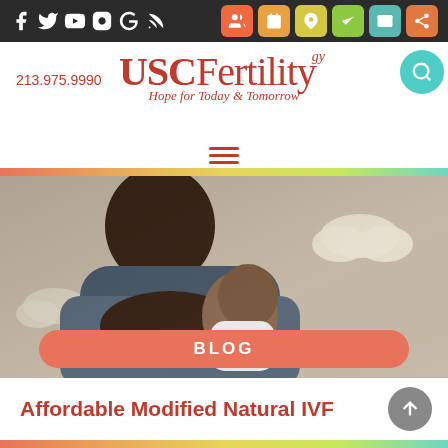USC Fertility — social media icons and navigation bar
213.975.9990
USC Fertility — Hope for Today & Tomorrow
[Figure (photo): A Black father holding a sleeping newborn baby against his chest in a nursery with cloud decorations in the background.]
BLOG
Affordable Modified Natural IVF